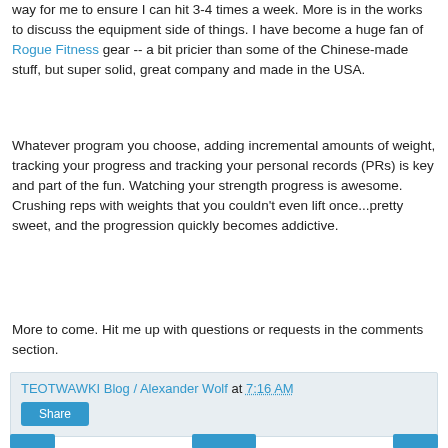way for me to ensure I can hit 3-4 times a week. More is in the works to discuss the equipment side of things. I have become a huge fan of Rogue Fitness gear -- a bit pricier than some of the Chinese-made stuff, but super solid, great company and made in the USA.
Whatever program you choose, adding incremental amounts of weight, tracking your progress and tracking your personal records (PRs) is key and part of the fun. Watching your strength progress is awesome. Crushing reps with weights that you couldn't even lift once...pretty sweet, and the progression quickly becomes addictive.
More to come. Hit me up with questions or requests in the comments section.
TEOTWAWKI Blog / Alexander Wolf at 7:16 AM
Share